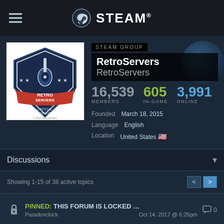STEAM®
[Figure (logo): RetroServers Official Group logo — dark shield with guitar and stars, red banner reading RETRO SERVERS OFFICIAL GROUP, copyright 2015 RetroServers]
STEAM GROUP
RetroServers RetroServers
16,539 MEMBERS   605 IN-GAME   3,991 ONLINE
Founded   March 18, 2015
Language   English
Location   United States 🇺🇸
Discussions
Showing 1-15 of 38 active topics
PINNED: THIS FORUM IS LOCKED …
Paradoxclock   Oct 14, 2017 @ 6:26pm   💬 0
PINNED: Server Commands   💬 2